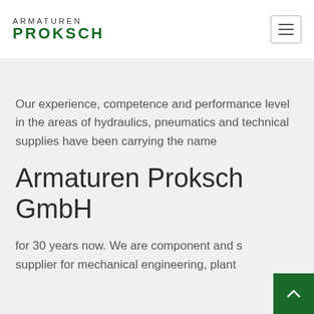ARMATUREN PROKSCH
Our experience, competence and performance level in the areas of hydraulics, pneumatics and technical supplies have been carrying the name
Armaturen Proksch GmbH
for 30 years now. We are component and system supplier for mechanical engineering, plant